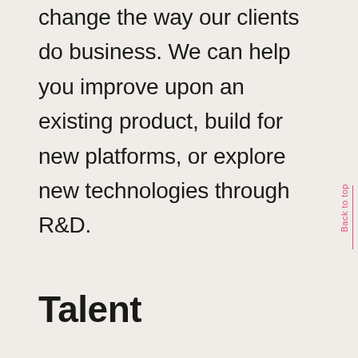change the way our clients do business. We can help you improve upon an existing product, build for new platforms, or explore new technologies through R&D.
Talent
Our OnSite program can help you add a key role to complement an existing team, several people to complete your project, or an entire team trained for your needs.